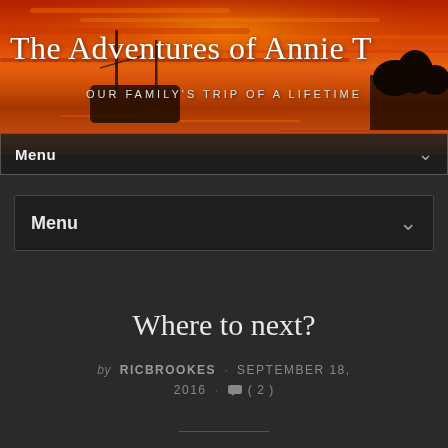[Figure (photo): Sunset photo showing silhouettes of sailboat masts and trees against a vivid orange and red sky reflecting on water, serving as the website header background.]
The Adventures of Annie T
OUR FAMILY'S TRIP OF A LIFETIME
Menu
Menu
Where to next?
by RICBROOKES · SEPTEMBER 18, 2016 · (2)